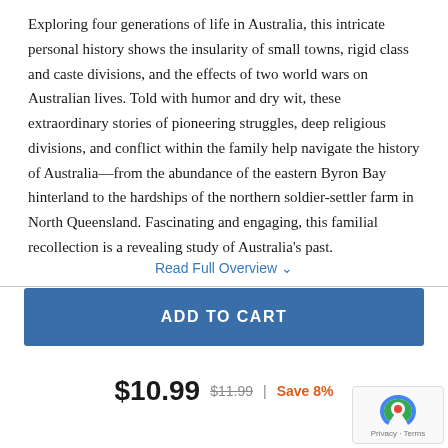Exploring four generations of life in Australia, this intricate personal history shows the insularity of small towns, rigid class and caste divisions, and the effects of two world wars on Australian lives. Told with humor and dry wit, these extraordinary stories of pioneering struggles, deep religious divisions, and conflict within the family help navigate the history of Australia—from the abundance of the eastern Byron Bay hinterland to the hardships of the northern soldier-settler farm in North Queensland. Fascinating and engaging, this familial recollection is a revealing study of Australia's past.
Read Full Overview ∨
ADD TO CART
$10.99  $11.99  |  Save 8%